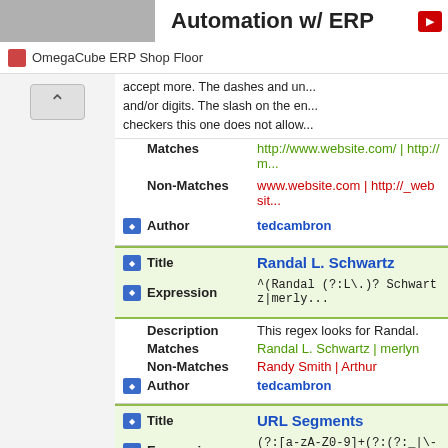Automation w/ ERP
OmegaCube ERP Shop Floor
accept more. The dashes and un... and/or digits. The slash on the en... checkers this one does not allow...
Matches: http://www.website.com/ | http://m...
Non-Matches: www.website.com | http://_websit...
Author: tedcambron
Title: Randal L. Schwartz
Expression: ^(Randal (?:L\.)? Schwartz|merly...
Description: This regex looks for Randal.
Matches: Randal L. Schwartz | merlyn
Non-Matches: Randy Smith | Arthur
Author: tedcambron
Title: URL Segments
Expression: (?:[a-zA-Z0-9]+(?:(?:_|\-|\\)[a-zA-Z...
Description: This is an expression I sometime...